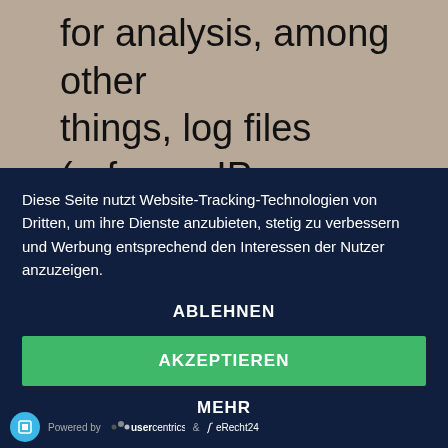for analysis, among other things, log files (referrer, IP address, browser, etc.), the origin of website visitors
Diese Seite nutzt Website-Tracking-Technologien von Dritten, um ihre Dienste anzubieten, stetig zu verbessern und Werbung entsprechend den Interessen der Nutzer anzuzeigen.
ABLEHNEN
AKZEPTIEREN
MEHR
Powered by usercentrics & eRecht24